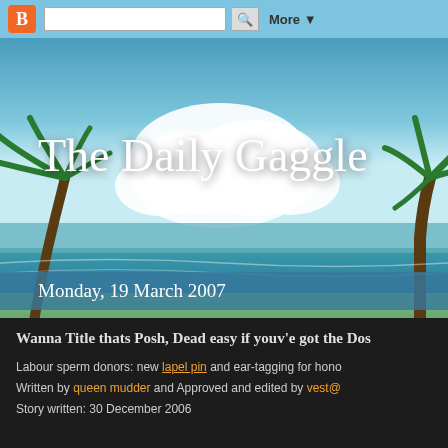[Figure (screenshot): Blogger navigation bar with orange B logo, search box, and More dropdown on blue background]
The Daily Gaggle
[Figure (photo): Tropical beach scene with palm trees, turquoise ocean, white clouds, and sandy beach forming the blog header background]
Monday, 19 March 2007
Wanna Title thats Posh, Dead easy if youv'e got the Dos
Labour sperm donors: new lapel pin and ear-tagging for hono
Written by queen mudder and Approved and edited by vest@
Story written: 30 December 2006